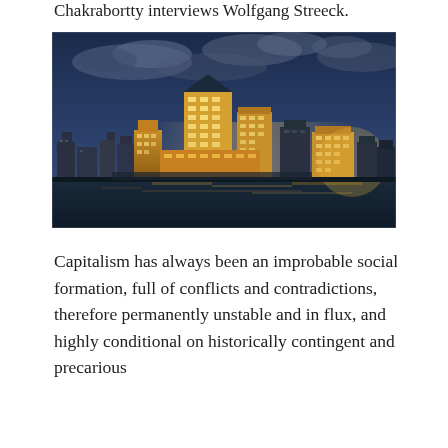Chakrabortty interviews Wolfgang Streeck.
[Figure (photo): Nighttime skyline of London's Canary Wharf financial district, with illuminated skyscrapers reflecting golden light, viewed from across the Thames river under a dramatic cloudy sky.]
Capitalism has always been an improbable social formation, full of conflicts and contradictions, therefore permanently unstable and in flux, and highly conditional on historically contingent and precarious